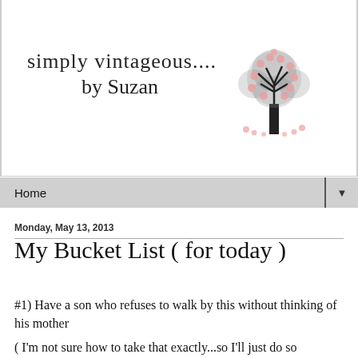simply vintageous.... by Suzan
[Figure (illustration): Decorative tree illustration with pink heart-shaped leaves and small hearts at the base, in black and pink tones]
Home
Monday, May 13, 2013
My Bucket List ( for today )
#1)  Have a son who refuses to walk by this without thinking of his mother
( I'm not sure how to take that exactly...so I'll just do so